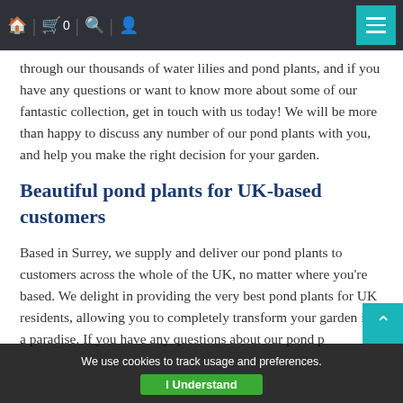Navigation bar with home, cart (0), search, user icons and menu button
through our thousands of water lilies and pond plants, and if you have any questions or want to know more about some of our fantastic collection, get in touch with us today! We will be more than happy to discuss any number of our pond plants with you, and help you make the right decision for your garden.
Beautiful pond plants for UK-based customers
Based in Surrey, we supply and deliver our pond plants to customers across the whole of the UK, no matter where you're based. We delight in providing the very best pond plants for UK residents, allowing you to completely transform your garden into a paradise. If you have any questions about our pond p...
We use cookies to track usage and preferences.